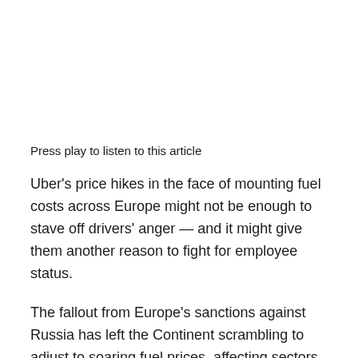Press play to listen to this article
Uber's price hikes in the face of mounting fuel costs across Europe might not be enough to stave off drivers' anger — and it might give them another reason to fight for employee status.
The fallout from Europe's sanctions against Russia has left the Continent scrambling to adjust to soaring fuel prices, affecting sectors ranging from logistics to the commercial airline industry. Drivers for ride-hailing apps like Uber, Bolt and FreeNow are in a particularly precarious